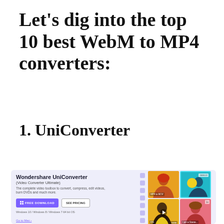Let's dig into the top 10 best WebM to MP4 converters:
1. UniConverter
[Figure (screenshot): Screenshot of the Wondershare UniConverter website showing the product title 'Wondershare UniConverter', subtitle '(Video Converter Ultimate)', description text, FREE DOWNLOAD and SEE PRICING buttons, Windows/Mac compatibility text, and a grid of four thumbnail images on the right side.]